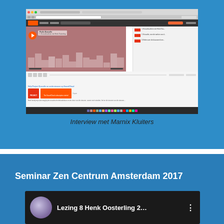[Figure (screenshot): Screenshot of a SoundCloud page showing 'Project Ecosofie' podcast with player controls, waveform visualization, and a red PROJECT ECOSOFIE logo box. Browser interface visible with Mac OS dock at bottom.]
Interview met Marnix Kluiters
Seminar Zen Centrum Amsterdam 2017
[Figure (screenshot): Video thumbnail showing 'Lezing 8 Henk Oosterling 2...' with a purple/lavender spherical logo on dark background with three-dot menu icon.]